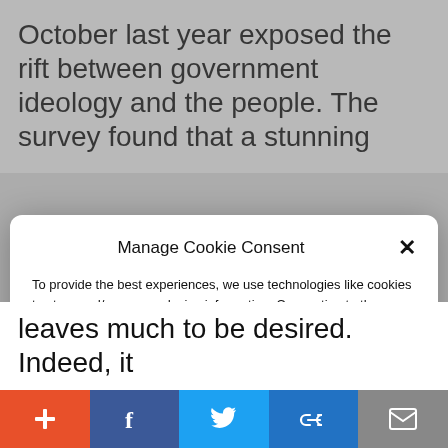October last year exposed the rift between government ideology and the people. The survey found that a stunning
Manage Cookie Consent
To provide the best experiences, we use technologies like cookies to store and/or access device information. Consenting to these technologies will allow us to process data such as website statistics. Not consenting or withdrawing consent, may adversely affect certain features and functions.
Accept
Cookie Policy   Privacy Policy
leaves much to be desired. Indeed, it
+ f (Twitter) (link) (mail)